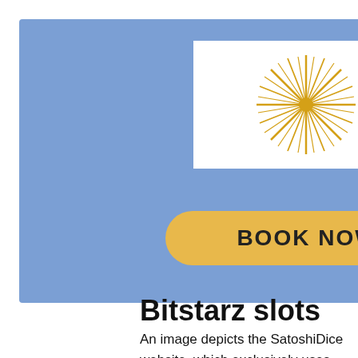[Figure (logo): Website header with blue background, a white rectangle containing a gold starburst/sun logo, and a hamburger menu icon on the right]
[Figure (other): Yellow rounded rectangle button with text BOOK NOW]
Bitstarz slots
An image depicts the SatoshiDice website, which exclusively uses Bitcoin, not dollars, for gambling. An image depicts the